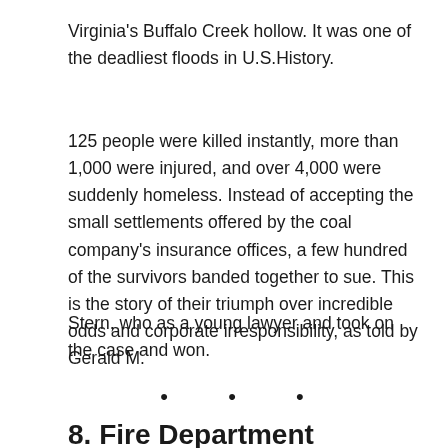Virginia's Buffalo Creek hollow. It was one of the deadliest floods in U.S.History.
125 people were killed instantly, more than 1,000 were injured, and over 4,000 were suddenly homeless. Instead of accepting the small settlements offered by the coal company's insurance offices, a few hundred of the survivors banded together to sue. This is the story of their triumph over incredible odds and corporate irresponsibility, as told by Gerald M.
Stern, who as a young lawyer and took on the case and won.
• • •
8. Fire Department Incident Safety